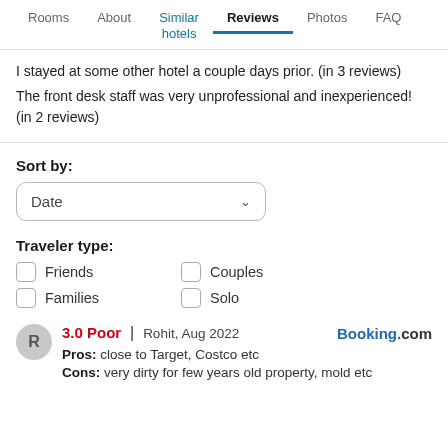Rooms | About | Similar hotels | Reviews | Photos | FAQ
I stayed at some other hotel a couple days prior. (in 3 reviews)
The front desk staff was very unprofessional and inexperienced! (in 2 reviews)
Sort by:
Date
Traveler type:
Friends
Couples
Families
Solo
3.0 Poor | Rohit, Aug 2022  Booking.com
Pros: close to Target, Costco etc
Cons: very dirty for few years old property, mold etc